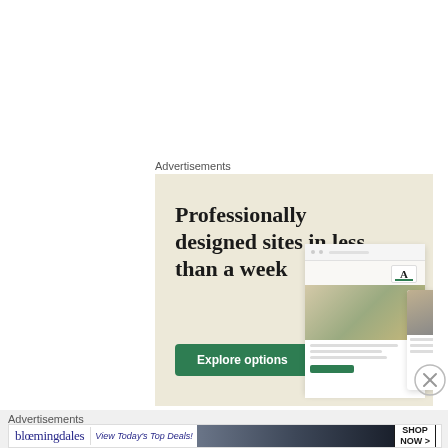Advertisements
[Figure (illustration): Wix advertisement banner with cream/beige background. Large serif text reads 'Professionally designed sites in less than a week' with a green 'Explore options' button and website mockup images on the right side.]
Advertisements
[Figure (illustration): Bloomingdale's advertisement banner with logo text 'bloomingdales', subtitle 'View Today's Top Deals!', a model wearing a wide-brim hat, and a 'SHOP NOW >' button.]